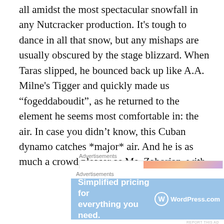all amidst the most spectacular snowfall in any Nutcracker production. It's tough to dance in all that snow, but any mishaps are usually obscured by the stage blizzard. When Taras slipped, he bounced back up like A.A. Milne's Tigger and quickly made us “fogeddaboudit”, as he returned to the element he seems most comfortable in: the air. In case you didn't know, this Cuban dynamo catches *major* air. And he is as much a crowd pleaser as Ms. Zahorian, with her incredible turns.
[Figure (other): WordPress VIP advertisement banner with 'Learn more' button on gradient background]
A dance review of Tomasoni’s Nutcracker would be
[Figure (other): WordPress.com advertisement: 'Simplified pricing for everything you need.']